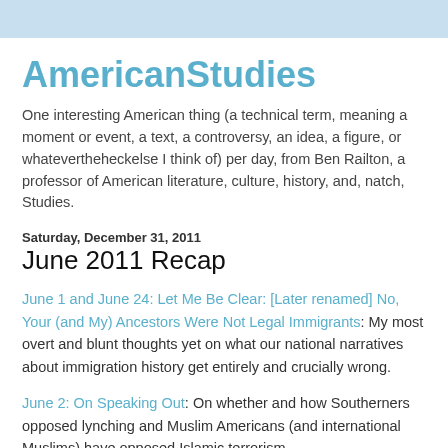AmericanStudies
One interesting American thing (a technical term, meaning a moment or event, a text, a controversy, an idea, a figure, or whatevertheheckelse I think of) per day, from Ben Railton, a professor of American literature, culture, history, and, natch, Studies.
Saturday, December 31, 2011
June 2011 Recap
June 1 and June 24: Let Me Be Clear: [Later renamed] No, Your (and My) Ancestors Were Not Legal Immigrants: My most overt and blunt thoughts yet on what our national narratives about immigration history get entirely and crucially wrong.
June 2: On Speaking Out: On whether and how Southerners opposed lynching and Muslim Americans (and international Muslims) have opposed Islamic terrorism.